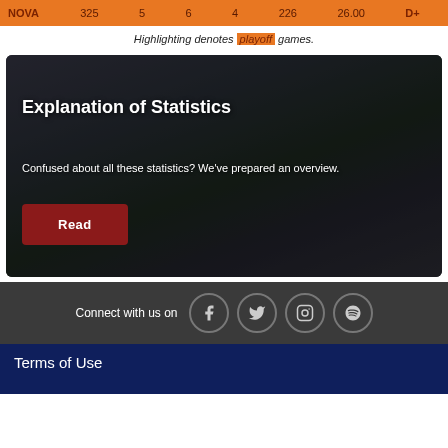| TEAM |  |  |  |  |  |  |  |
| --- | --- | --- | --- | --- | --- | --- | --- |
| NOVA | 325 | 5 | 6 | 4 | 226 | 26.00 |  |
Highlighting denotes playoff games.
[Figure (photo): Two people crouching and reviewing a document together in what appears to be a gymnasium or sports facility. One person wears a dark suit jacket, the other a green polo shirt.]
Explanation of Statistics
Confused about all these statistics? We've prepared an overview.
Read
Connect with us on
Terms of Use